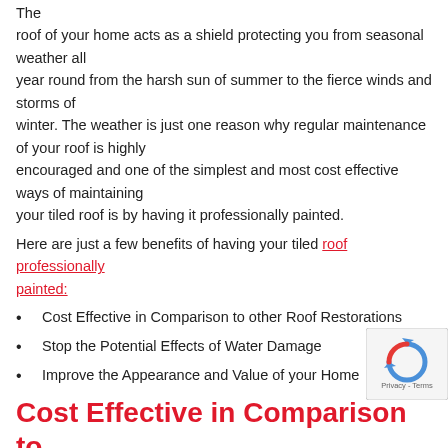The roof of your home acts as a shield protecting you from seasonal weather all year round from the harsh sun of summer to the fierce winds and storms of winter. The weather is just one reason why regular maintenance of your roof is highly encouraged and one of the simplest and most cost effective ways of maintaining your tiled roof is by having it professionally painted.
Here are just a few benefits of having your tiled roof professionally painted:
Cost Effective in Comparison to other Roof Restorations
Stop the Potential Effects of Water Damage
Improve the Appearance and Value of your Home
Cost Effective in Comparison to other Roof Restorations
Home owners often dismiss the idea of having their roof professionally